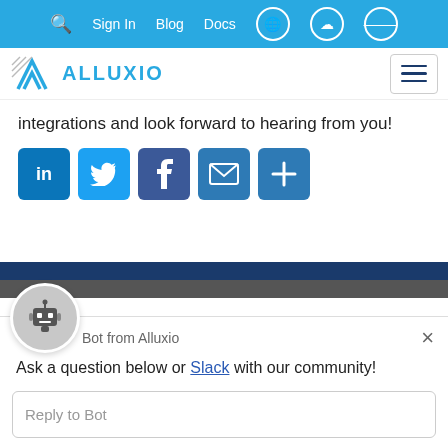Sign In  Blog  Docs
[Figure (logo): Alluxio logo with triangle icon and text]
integrations and look forward to hearing from you!
[Figure (infographic): Social share buttons: LinkedIn, Twitter, Facebook, Email, More]
[Figure (infographic): Chat bot widget from Alluxio with bot avatar, message: Ask a question below or Slack with our community!, and Reply to Bot input field]